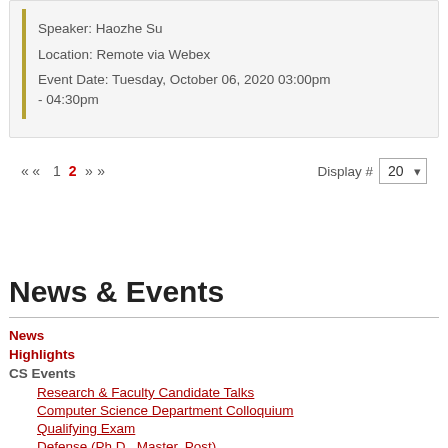Speaker: Haozhe Su
Location: Remote via Webex
Event Date: Tuesday, October 06, 2020 03:00pm - 04:30pm
« ‹ 1 2 › »  Display # 20
News & Events
News
Highlights
CS Events
Research & Faculty Candidate Talks
Computer Science Department Colloquium
Qualifying Exam
Defense (Ph.D., Master, Post)...